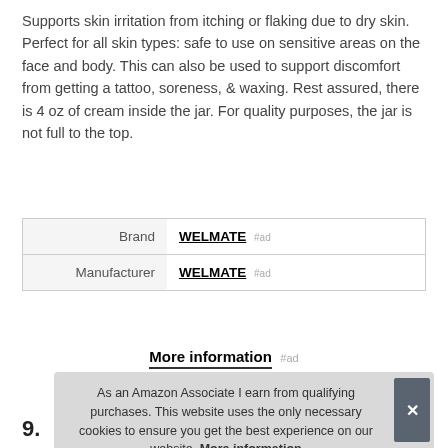Supports skin irritation from itching or flaking due to dry skin. Perfect for all skin types: safe to use on sensitive areas on the face and body. This can also be used to support discomfort from getting a tattoo, soreness, & waxing. Rest assured, there is 4 oz of cream inside the jar. For quality purposes, the jar is not full to the top.
|  |  |
| --- | --- |
| Brand | WELMATE #ad |
| Manufacturer | WELMATE #ad |
More information #ad
As an Amazon Associate I earn from qualifying purchases. This website uses the only necessary cookies to ensure you get the best experience on our website. More information
9.